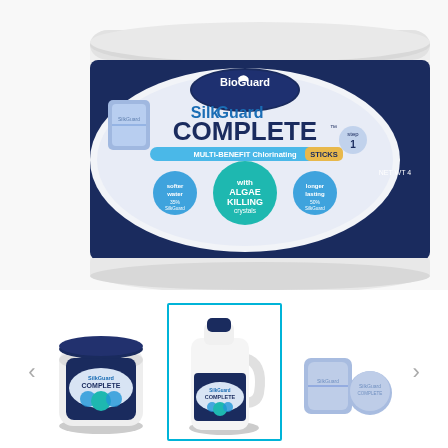[Figure (photo): BioGuard SilkGuard Complete multi-benefit chlorinating sticks container - large tub with blue and white label showing product name, ALGAE KILLING crystals badge, softer water and longer lasting claims, with a blue chlorine stick/tablet shown beside the container.]
[Figure (photo): Thumbnail 1: BioGuard SilkGuard Complete small round tub/jar product photo]
[Figure (photo): Thumbnail 2 (selected/active): BioGuard SilkGuard Complete jug/bottle product photo]
[Figure (photo): Thumbnail 3: Two blue chlorinating sticks/tablets shown side by side]